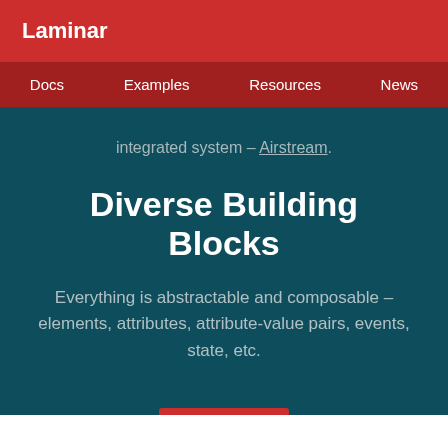Laminar
Docs  Examples  Resources  News
integrated system – Airstream.
Diverse Building Blocks
Everything is abstractable and composable – elements, attributes, attribute-value pairs, events, state, etc.